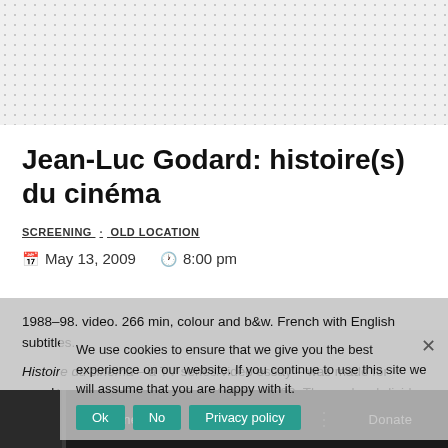[Figure (other): Dotted/grid pattern background header area]
Jean-Luc Godard: histoire(s) du cinéma
SCREENING · OLD LOCATION
May 13, 2009   8:00 pm
1988–98. video. 266 min, colour and b&w. French with English subtitles.
Histoire du cinéma – a TV series/video essay – was made for canal+, arte and Gaumont, from 1988 to 1998. The work subdivides into four chapters of two parts each
We use cookies to ensure that we give you the best experience on our website. If you continue to use this site we will assume that you are happy with it.
Connect · About · Donate